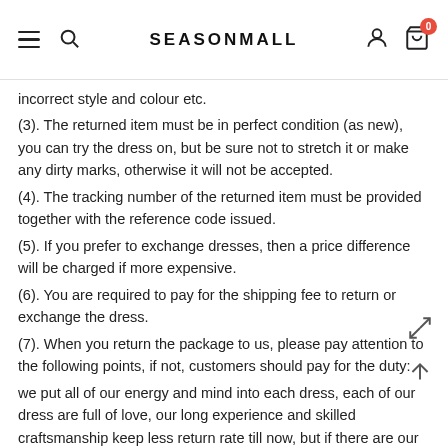SEASONMALL
incorrect style and colour etc.
(3). The returned item must be in perfect condition (as new), you can try the dress on, but be sure not to stretch it or make any dirty marks, otherwise it will not be accepted.
(4). The tracking number of the returned item must be provided together with the reference code issued.
(5). If you prefer to exchange dresses, then a price difference will be charged if more expensive.
(6). You are required to pay for the shipping fee to return or exchange the dress.
(7). When you return the package to us, please pay attention to the following points, if not, customers should pay for the duty:
we put all of our energy and mind into each dress, each of our dress are full of love, our long experience and skilled craftsmanship keep less return rate till now, but if there are our problems, we could return all your payment, for more